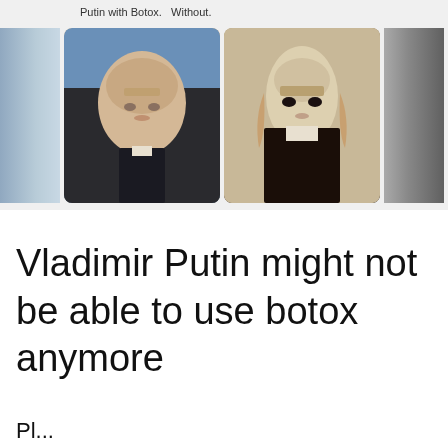[Figure (photo): A social media post screenshot showing two side-by-side comparison photos labeled 'Putin with Botox.' and 'Without.' The left photo shows Vladimir Putin in a suit, the right shows a gaunt pale figure with long hair. Blurred partial images appear on the far left and right edges.]
Putin with Botox.  Without.
Vladimir Putin might not be able to use botox anymore
Pl...